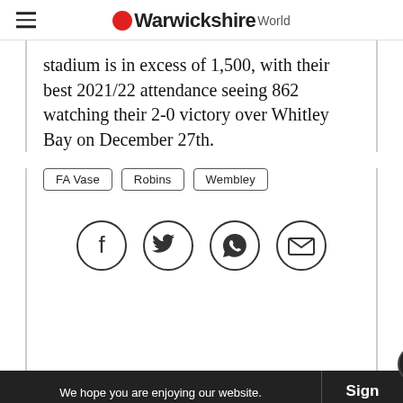Warwickshire World
stadium is in excess of 1,500, with their best 2021/22 attendance seeing 862 watching their 2-0 victory over Whitley Bay on December 27th.
FA Vase
Robins
Wembley
[Figure (infographic): Social sharing icons: Facebook, Twitter, WhatsApp, Email — each in a circle outline]
We hope you are enjoying our website. Register for exclusive newsletters Sign today